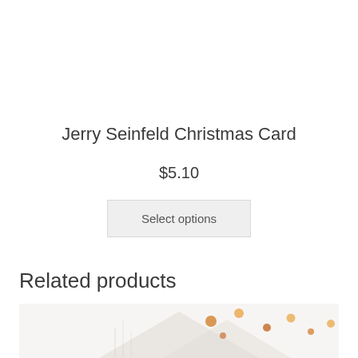Jerry Seinfeld Christmas Card
$5.10
Select options
Related products
[Figure (photo): Partial view of a related product image with decorative dots/circles in orange/gold colors on a light background, with a triangular shape visible at the bottom.]